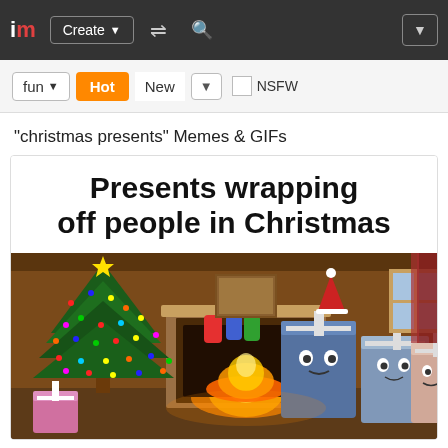im | Create | [shuffle] [search] [dropdown]
fun ▼  Hot  New  ▼  □ NSFW
"christmas presents" Memes & GIFs
[Figure (illustration): Meme card with bold text 'Presents wrapping off people in Christmas' above an illustrated Christmas scene with animated gift box characters sitting in a living room with a lit fireplace and decorated Christmas tree.]